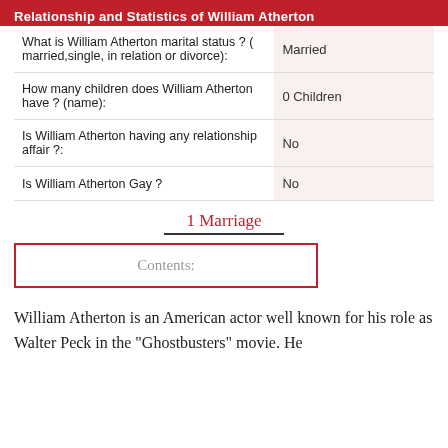Relationship and Statistics of William Atherton
| Question | Answer |
| --- | --- |
| What is William Atherton marital status ? ( married,single, in relation or divorce): | Married |
| How many children does William Atherton have ? (name): | 0 Children |
| Is William Atherton having any relationship affair ?: | No |
| Is William Atherton Gay ? | No |
1 Marriage
Contents:
William Atherton is an American actor well known for his role as Walter Peck in the "Ghostbusters" movie. He